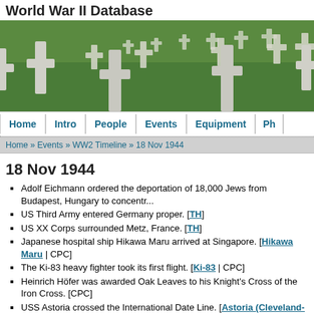World War II Database
[Figure (photo): Photo of white military cross grave markers on green grass at a military cemetery]
Home | Intro | People | Events | Equipment | Ph...
Home » Events » WW2 Timeline » 18 Nov 1944
18 Nov 1944
Adolf Eichmann ordered the deportation of 18,000 Jews from Budapest, Hungary to concentr...
US Third Army entered Germany proper. [TH]
US XX Corps surrounded Metz, France. [TH]
Japanese hospital ship Hikawa Maru arrived at Singapore. [Hikawa Maru | CPC]
The Ki-83 heavy fighter took its first flight. [Ki-83 | CPC]
Heinrich Höfer was awarded Oak Leaves to his Knight's Cross of the Iron Cross. [CPC]
USS Astoria crossed the International Date Line. [Astoria (Cleveland-class) | CPC]
Antrup Wilhelm was awarded Oak Leaves to his Knight's Cross of the Iron Cross. [CPC]
China
The C-0101 transport aircraft completed its first operational flight from Chongqing, China to... China. [C-0101 | Chongqing | CPC]